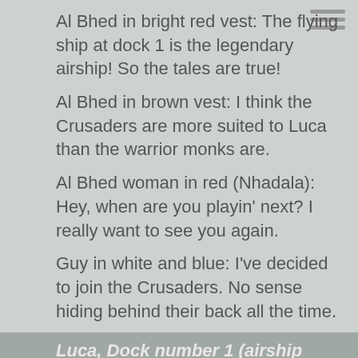Al Bhed in bright red vest: The flying ship at dock 1 is the legendary airship! So the tales are true!
Al Bhed in brown vest: I think the Crusaders are more suited to Luca than the warrior monks are.
Al Bhed woman in red (Nhadala): Hey, when are you playin' next? I really want to see you again.
Guy in white and blue: I've decided to join the Crusaders. No sense hiding behind their back all the time.
Luca, Dock number 1 (airship docked)
Man wrapped in long brown coat: I ran out of Bevelle as fast as I could, so I didn't pack any summer clothes.
Crusader patrolling: Th-That flying ship…Have the Al Bhed finally brough out their big guns? I hope they will